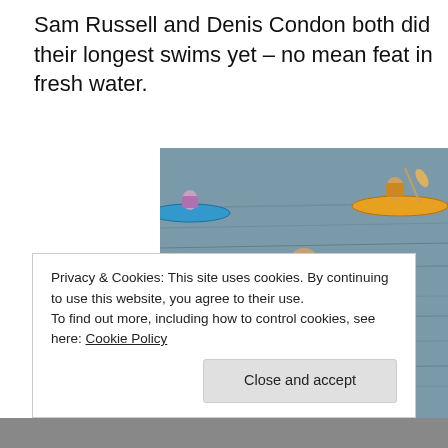Sam Russell and Denis Condon both did their longest swims yet – no mean feat in fresh water.
[Figure (photo): A person in a black wetsuit standing in a lake or reservoir, with two kayakers visible in the background on the water. Another person is partially visible in the foreground.]
Privacy & Cookies: This site uses cookies. By continuing to use this website, you agree to their use.
To find out more, including how to control cookies, see here: Cookie Policy